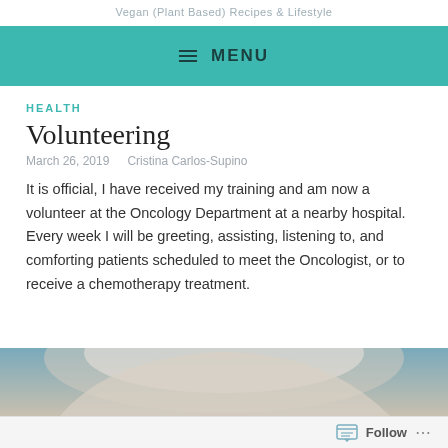Vegan (Plant Based) Recipes & Lifestyle
MENU
HEALTH
Volunteering
March 26, 2019   Cristina Carlos-Supino
It is official, I have received my training and am now a volunteer at the Oncology Department at a nearby hospital. Every week I will be greeting, assisting, listening to, and comforting patients scheduled to meet the Oncologist, or to receive a chemotherapy treatment.
[Figure (photo): Partial view of a person with light-colored hair, cropped at bottom of page]
Follow